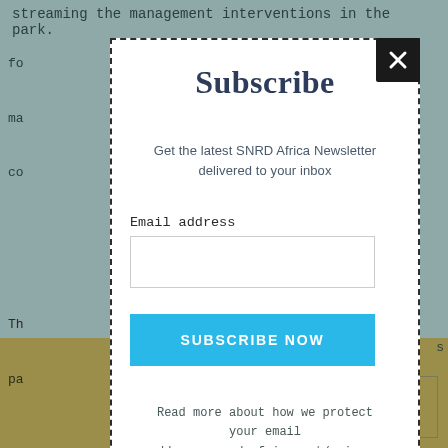streaming the management interventions in the park.
fo
ma
co
s
Subscribe
Get the latest SNRD Africa Newsletter delivered to your inbox
Email address
SUBSCRIBE NOW
Read more about how we protect your email address: snrd-africa.net/privacy
Th
pa